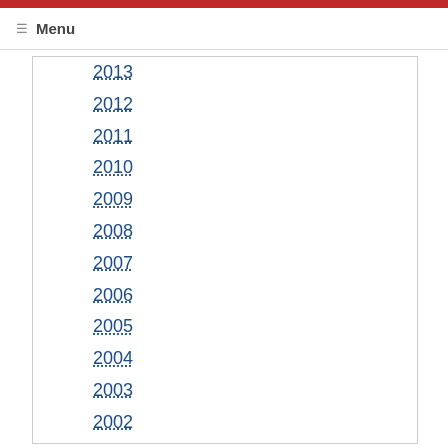☰ Menu
2013
2012
2011
2010
2009
2008
2007
2006
2005
2004
2003
2002
2001